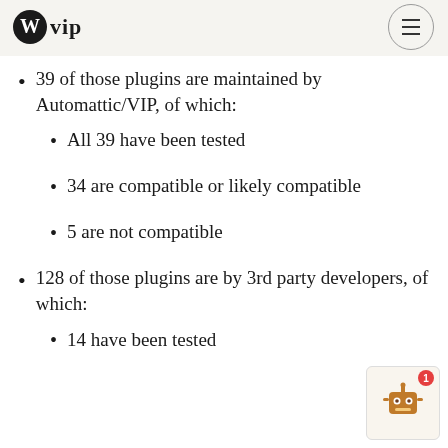WordPress VIP
There are ~167 different plugins running on...
39 of those plugins are maintained by Automattic/VIP, of which:
All 39 have been tested
34 are compatible or likely compatible
5 are not compatible
128 of those plugins are by 3rd party developers, of which:
14 have been tested